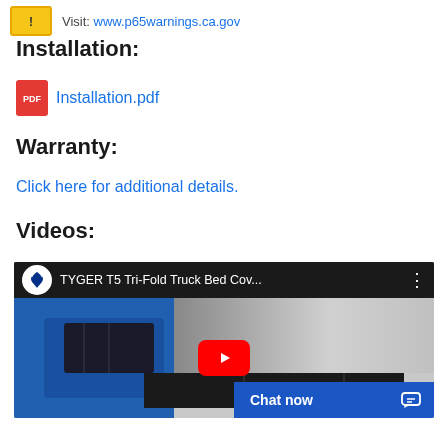Visit: www.p65warnings.ca.gov
Installation:
Installation.pdf
Warranty:
Click here for additional details.
Videos:
[Figure (screenshot): YouTube video thumbnail for TYGER T5 Tri-Fold Truck Bed Cover showing a blue truck with a black tri-fold tonneau cover, with a red YouTube play button overlaid, and a Chat now button in the bottom right corner]